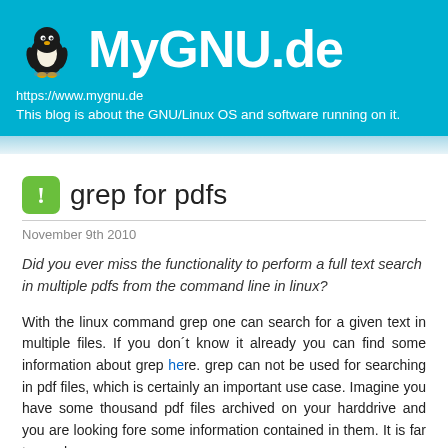MyGNU.de
https://www.mygnu.de
This blog is about the GNU/Linux OS and software running on it.
grep for pdfs
November 9th 2010
Did you ever miss the functionality to perform a full text search in multiple pdfs from the command line in linux?
With the linux command grep one can search for a given text in mul... you don´t know it already you can find some information about grep h... can not be used for searching in pdf files, which is certainly an im... Imagine you have some thousand pdf files archived on your harddrive... looking fore some information contained in them. It is far to much w...